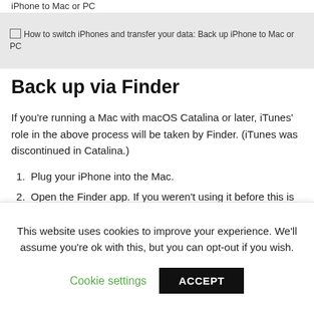iPhone to Mac or PC
[Figure (screenshot): Image placeholder showing 'How to switch iPhones and transfer your data: Back up iPhone to Mac or PC' on a grey background]
Back up via Finder
If you're running a Mac with macOS Catalina or later, iTunes' role in the above process will be taken by Finder. (iTunes was discontinued in Catalina.)
Plug your iPhone into the Mac.
Open the Finder app. If you weren't using it before this is likely to open a fresh window we can use for this purpose; if that doesn't happen, open a new window with Cmd + N.
This website uses cookies to improve your experience. We'll assume you're ok with this, but you can opt-out if you wish.
Cookie settings    ACCEPT